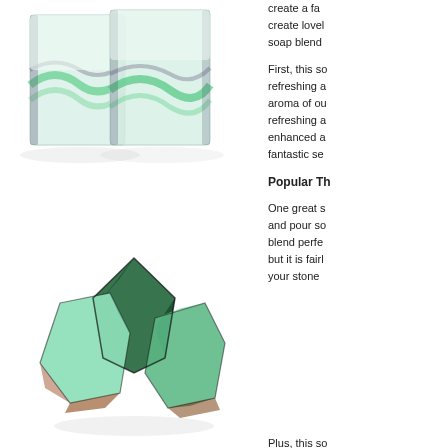[Figure (photo): Two rectangular translucent soap bars with green and grey swirl patterns, standing upright against a white background]
create a fa... create lovel... soap blend...
First, this so... refreshing a... aroma of ou... refreshing a... enhanced a... fantastic se...
Popular Th...
One great s... and pour so... blend perfe... but it is fairl... your stone...
[Figure (photo): Three gem-like soap pieces in green, mint, and dark green colors resembling polished stones, arranged together on white background]
Plus, this so...